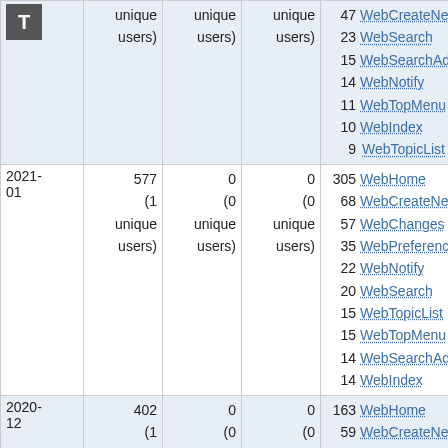|  | unique users) | unique users) | unique users) | Top views |
| --- | --- | --- | --- | --- |
|  |  |  |  | 47 WebCreateNewTopic
23 WebSearch
15 WebSearchAdvanced
14 WebNotify
11 WebTopMenu
10 WebIndex
9 WebTopicList |
| 2021-01 | 577 (1 unique users) | 0 (0 unique users) | 0 (0 unique users) | 305 WebHome
68 WebCreateNewTopic
57 WebChanges
35 WebPreferences
22 WebNotify
20 WebSearch
15 WebTopicList
15 WebTopMenu
14 WebSearchAdvanced
14 WebIndex |
| 2020-12 | 402 (1 unique users) | 0 (0 unique users) | 0 (0 unique users) | 163 WebHome
59 WebCreateNewTopic
54 WebPreferences
44 WebChanges |